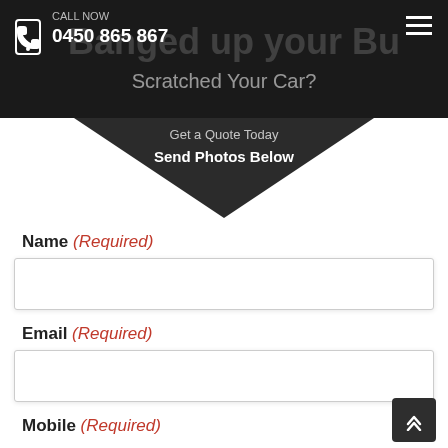CALL NOW 0450 865 867
Banged up your Bumper? Scratched Your Car?
Get a Quote Today
Send Photos Below
Name (Required)
Email (Required)
Mobile (Required)
Suburb (Required)